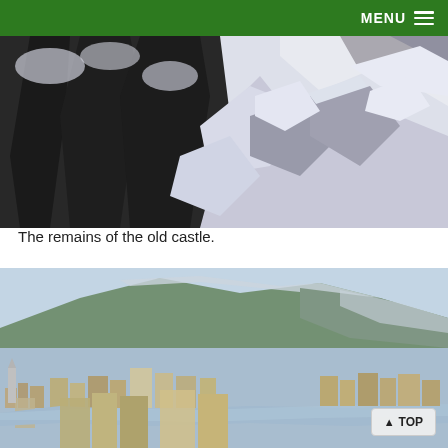MENU
[Figure (photo): Snow-covered rocky terrain with dark trees and snow on rocks, remains of an old castle]
The remains of the old castle.
[Figure (photo): Panoramic aerial view of a town/city in a valley surrounded by snow-covered hills and mountains, with a river visible in the foreground]
TOP